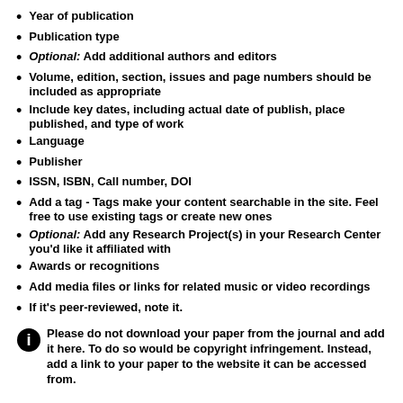Year of publication
Publication type
Optional: Add additional authors and editors
Volume, edition, section, issues and page numbers should be included as appropriate
Include key dates, including actual date of publish, place published, and type of work
Language
Publisher
ISSN, ISBN, Call number, DOI
Add a tag - Tags make your content searchable in the site. Feel free to use existing tags or create new ones
Optional: Add any Research Project(s) in your Research Center you'd like it affiliated with
Awards or recognitions
Add media files or links for related music or video recordings
If it's peer-reviewed, note it.
Please do not download your paper from the journal and add it here. To do so would be copyright infringement. Instead, add a link to your paper to the website it can be accessed from.